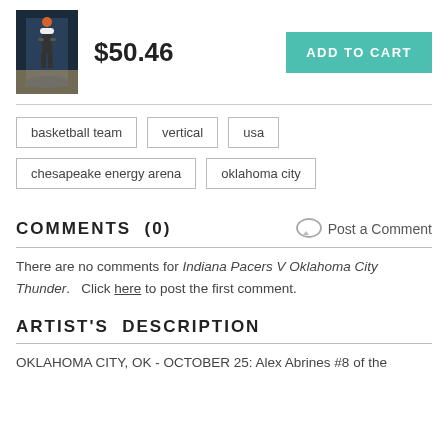[Figure (photo): Small thumbnail of a basketball player dunking]
$50.46
ADD TO CART
basketball team
vertical
usa
chesapeake energy arena
oklahoma city
COMMENTS  (0)
Post a Comment
There are no comments for Indiana Pacers V Oklahoma City Thunder.   Click here to post the first comment.
ARTIST'S  DESCRIPTION
OKLAHOMA CITY, OK - OCTOBER 25: Alex Abrines #8 of the